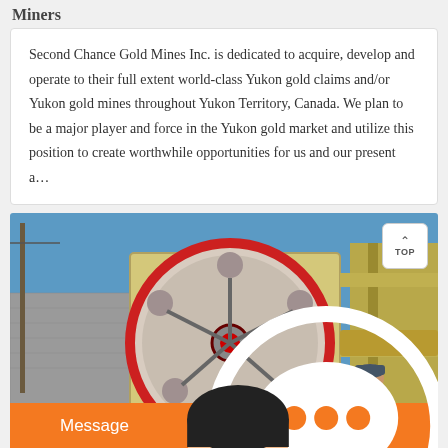Miners
Second Chance Gold Mines Inc. is dedicated to acquire, develop and operate to their full extent world-class Yukon gold claims and/or Yukon gold mines throughout Yukon Territory, Canada. We plan to be a major player and force in the Yukon gold market and utilize this position to create worthwhile opportunities for us and our present a…
[Figure (photo): Industrial mining machinery — a large flywheel/pulley of a jaw crusher, painted cream/yellow with red trim, photographed outdoors against a blue sky. A worker in a cap stands in the background.]